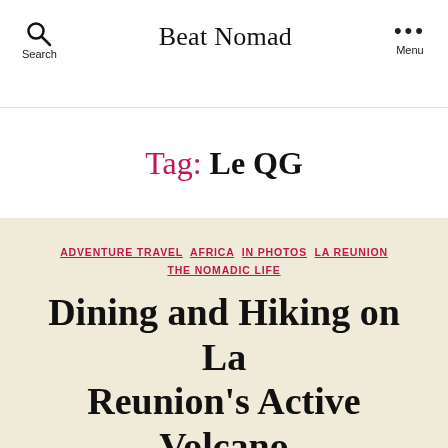Beat Nomad
Tag: Le QG
ADVENTURE TRAVEL  AFRICA  IN PHOTOS  LA REUNION  THE NOMADIC LIFE
Dining and Hiking on La Reunion's Active Volcano
April 26, 2013  No Comments